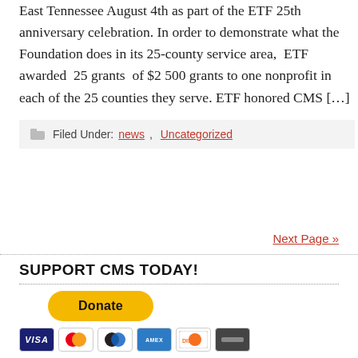East Tennessee August 4th as part of the ETF 25th anniversary celebration. In order to demonstrate what the Foundation does in its 25-county service area, ETF awarded 25 grants of $2 500 grants to one nonprofit in each of the 25 counties they serve. ETF honored CMS […]
Filed Under: news, Uncategorized
Next Page »
SUPPORT CMS TODAY!
[Figure (other): PayPal Donate button (yellow rounded rectangle) and credit card icons: VISA, Mastercard, Mastercard, American Express, Discover, and one additional card.]